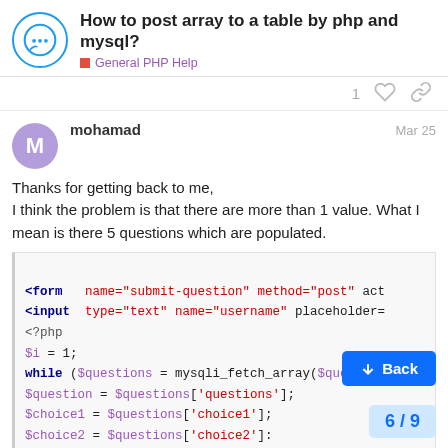How to post array to a table by php and mysql? — General PHP Help
1 [like] [link]
mohamad  Mar 25
Thanks for getting back to me,
I think the problem is that there are more than 1 value. What I mean is there 5 questions which are populated.
<form   name="submit-question" method="post" act
<input  type="text" name="username" placeholder=
<?php
$i = 1;
while ($questions = mysqli_fetch_array($query))
$question = $questions['questions'];
$choice1 = $questions['choice1'];
$choice2 = $questions['choice2']:
$choice3= $questions['choice3'
$choice4 = $questions['choice4